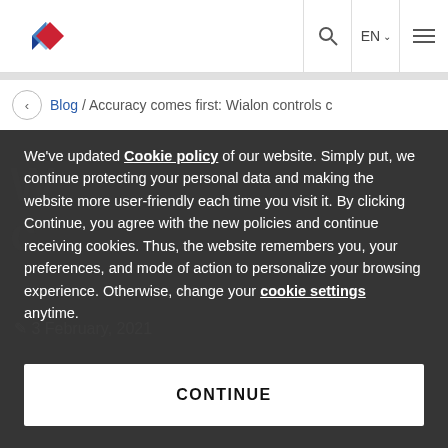Wialon website header with logo, search, EN language selector, and hamburger menu
Blog / Accuracy comes first: Wialon controls c
We've updated Cookie policy of our website. Simply put, we continue protecting your personal data and making the website more user-friendly each time you visit it. By clicking Continue, you agree with the new policies and continue receiving cookies. Thus, the website remembers you, your preferences, and mode of action to personalize your browsing experience. Otherwise, change your cookie settings anytime.
CONTINUE